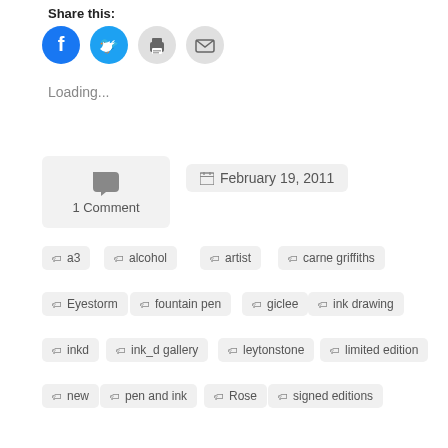Share this:
[Figure (infographic): Row of four social sharing icon buttons: Facebook (blue circle), Twitter (blue circle), Print (gray circle), Email (gray circle)]
Loading...
[Figure (infographic): 1 Comment box with speech bubble icon]
February 19, 2011
a3
alcohol
artist
carne griffiths
Eyestorm
fountain pen
giclee
ink drawing
inkd
ink_d gallery
leytonstone
limited edition
new
pen and ink
Rose
signed editions
Sketches
the discovery
the vine